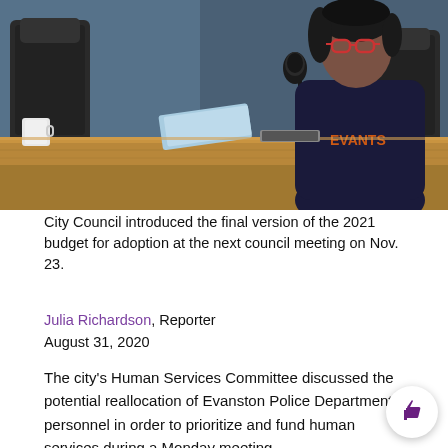[Figure (photo): A person speaking at a city council meeting podium/desk, with a microphone, wearing a dark navy shirt with orange lettering. The room has dark office chairs and a blue-gray wall in the background. Papers and a mug are visible on the wooden council desk.]
City Council introduced the final version of the 2021 budget for adoption at the next council meeting on Nov. 23.
Julia Richardson, Reporter
August 31, 2020
The city's Human Services Committee discussed the potential reallocation of Evanston Police Department personnel in order to prioritize and fund human services during a Monday meeting.